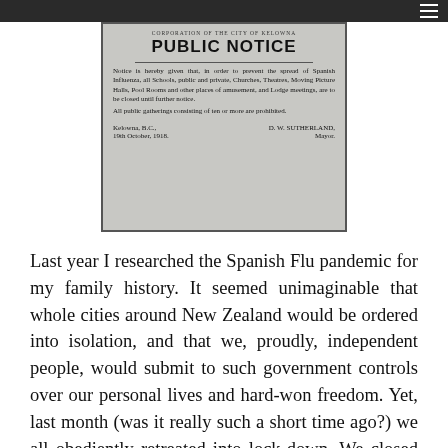[Figure (photo): A historical public notice from Kelowna, B.C., dated 19th October, 1918, signed by Mayor D. W. Sutherland, ordering the closure of schools, churches, theatres, moving picture halls, pool rooms and other places of amusement, and lodge meetings to prevent the spread of Spanish Influenza. All public gatherings of ten or more are prohibited.]
Last year I researched the Spanish Flu pandemic for my family history. It seemed unimaginable that whole cities around New Zealand would be ordered into isolation, and that we, proudly, independent people, would submit to such government controls over our personal lives and hard-won freedom. Yet, last month (was it really such a short time ago?) we all obediently retreated into lock-down. We closed our work places, adjusted to home